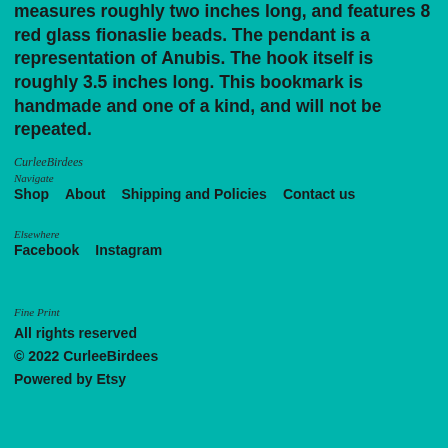measures roughly two inches long, and features 8 red glass fionaslie beads. The pendant is a representation of Anubis. The hook itself is roughly 3.5 inches long. This bookmark is handmade and one of a kind, and will not be repeated.
CurleeBirdees
Navigate
Shop
About
Shipping and Policies
Contact us
Elsewhere
Facebook
Instagram
Fine Print
All rights reserved
© 2022 CurleeBirdees
Powered by Etsy